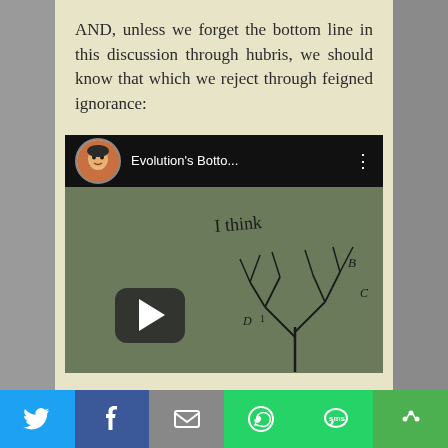AND, unless we forget the bottom line in this discussion through hubris, we should know that which we reject through feigned ignorance:
[Figure (screenshot): A YouTube video thumbnail showing a video titled 'Evolution's Botto...' with a play button overlay. The video content shows what appears to be Darwin's 'I think' sketch/tree of life notebook page on a chalkboard background. The video has a user avatar in the top left corner of the player.]